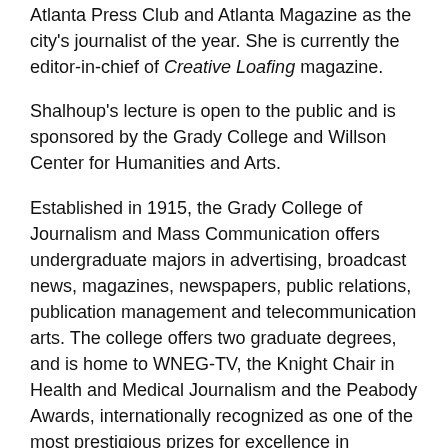Atlanta Press Club and Atlanta Magazine as the city's journalist of the year. She is currently the editor-in-chief of Creative Loafing magazine.
Shalhoup's lecture is open to the public and is sponsored by the Grady College and Willson Center for Humanities and Arts.
Established in 1915, the Grady College of Journalism and Mass Communication offers undergraduate majors in advertising, broadcast news, magazines, newspapers, public relations, publication management and telecommunication arts. The college offers two graduate degrees, and is home to WNEG-TV, the Knight Chair in Health and Medical Journalism and the Peabody Awards, internationally recognized as one of the most prestigious prizes for excellence in electronic media. For more information, see www.grady.uga.edu or follow Grady at twitter.com/ugagrady.
For more information on Shalhoup and BMG: The Rise and